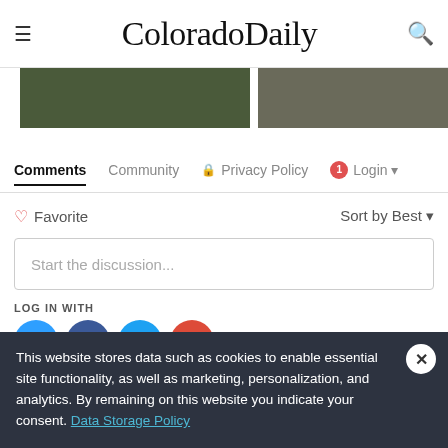ColoradoDaily
[Figure (screenshot): Two cropped image thumbnails side by side: a green/dark outdoor scene on the left, and a grey scene on the right.]
Comments | Community | Privacy Policy | Login
♡ Favorite   Sort by Best ▾
Start the discussion...
LOG IN WITH
[Figure (infographic): Four social login icons: Disqus (blue D), Facebook (dark blue f), Twitter (light blue bird), Google (red G)]
This website stores data such as cookies to enable essential site functionality, as well as marketing, personalization, and analytics. By remaining on this website you indicate your consent. Data Storage Policy